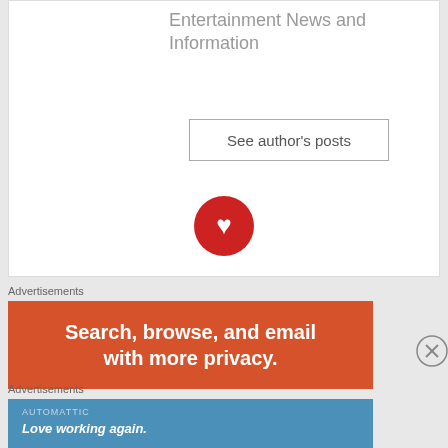Entertainment News and Information
See author's posts
[Figure (logo): Red circle with white heart/person icon]
Advertisements
[Figure (infographic): Orange-red advertisement banner: Search, browse, and email with more privacy.]
[Figure (other): Close button circle with X]
Advertisements
[Figure (infographic): Blue Automattic advertisement banner: Love working again.]